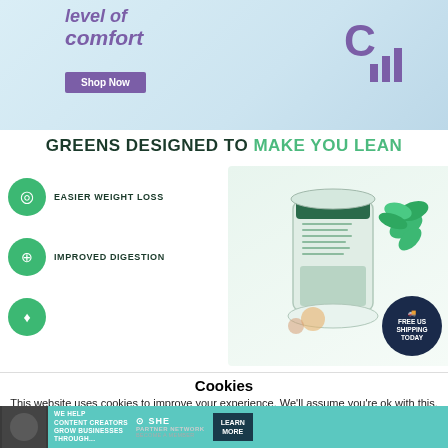[Figure (screenshot): Advertisement banner showing text 'level of comfort' with purple italic text, a 'Shop Now' purple button, and a purple logo icon on a light blue background]
[Figure (infographic): Green supplement product advertisement: 'GREENS DESIGNED TO MAKE YOU LEAN' with icons for Easier Weight Loss, Improved Digestion, and a product container with herbs. Free US Shipping Today badge shown.]
Cookies
This website uses cookies to improve your experience. We'll assume you're ok with this, but you can opt-out if you wish. Cookie X
[Figure (screenshot): Bottom advertisement banner in teal: 'WE HELP CONTENT CREATORS GROW BUSINESSES THROUGH...' with SHE PARTNER NETWORK logo and LEARN MORE button]